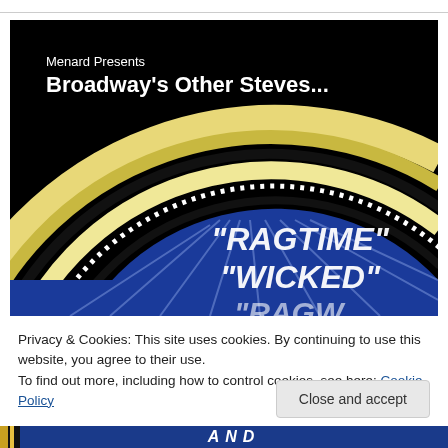[Figure (illustration): Broadway show poster image with black background, gold/yellow curved arch lines, blue interior with white spotlight rays, showing text 'Menard Presents Broadway's Other Steves...' at top left and show titles 'RAGTIME' and 'WICKED' in glowing white italic text on blue background]
Privacy & Cookies: This site uses cookies. By continuing to use this website, you agree to their use.
To find out more, including how to control cookies, see here: Cookie Policy
Close and accept